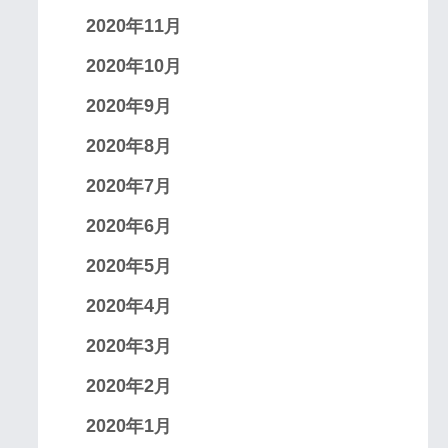2020年11月
2020年10月
2020年9月
2020年8月
2020年7月
2020年6月
2020年5月
2020年4月
2020年3月
2020年2月
2020年1月